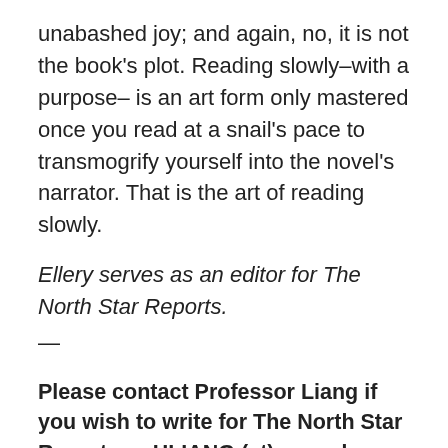unabashed joy; and again, no, it is not the book's plot. Reading slowly–with a purpose– is an art form only mastered once you read at a snail's pace to transmogrify yourself into the novel's narrator. That is the art of reading slowly.
Ellery serves as an editor for The North Star Reports.
—
Please contact Professor Liang if you wish to write for The North Star Reports — HLIANG (at) css.edu
See also, our Facebook page with curated news articles at http://www.facebook.com/NorthStarReports
–
The North Star Reports: Global Citizenship and Digital Literacy (http://NorthStarReports.org) is a student edited and student authored open access publication centered